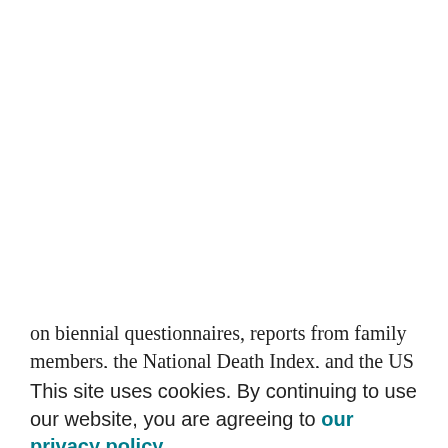Advertisement
on biennial questionnaires, reports from family members, the National Death Index, and the US Postal Service. For reported ovarian cancer cases, we obtained medical records or records from cancer registries for confirmation. We confirmed 263 ovarian cancer cases diagnosed after blood collection but before 1 June 2010 for NHS and 1 June 2009 for NHSII. Cases were matched to 2 controls
on age at blood draw, time of day of blood draw, month of blood draw, fasting status, menopausal status at blood draw and diagnosis, and postmenopausal hormone use at blood draw. Although smoking is an important source of
This site uses cookies. By continuing to use our website, you are agreeing to our privacy policy. Accept